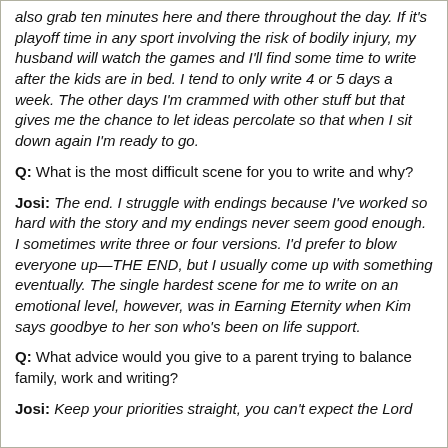also grab ten minutes here and there throughout the day. If it's playoff time in any sport involving the risk of bodily injury, my husband will watch the games and I'll find some time to write after the kids are in bed. I tend to only write 4 or 5 days a week. The other days I'm crammed with other stuff but that gives me the chance to let ideas percolate so that when I sit down again I'm ready to go.
Q: What is the most difficult scene for you to write and why?
Josi: The end. I struggle with endings because I've worked so hard with the story and my endings never seem good enough. I sometimes write three or four versions. I'd prefer to blow everyone up—THE END, but I usually come up with something eventually. The single hardest scene for me to write on an emotional level, however, was in Earning Eternity when Kim says goodbye to her son who's been on life support.
Q: What advice would you give to a parent trying to balance family, work and writing?
Josi: Keep your priorities straight, you can't expect the Lord